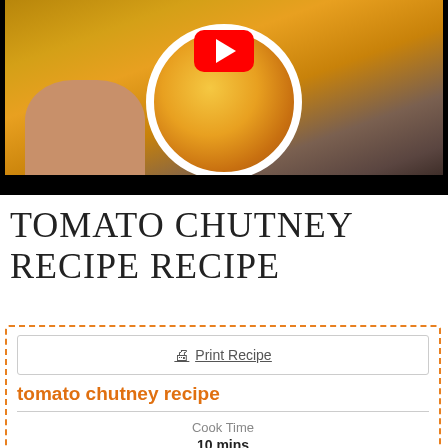[Figure (photo): A hand holding a white bowl filled with orange tomato chutney, shown from above. A YouTube play button (red rounded rectangle with white triangle) is overlaid in the center. The bottom of the image has a black letterbox bar.]
TOMATO CHUTNEY RECIPE RECIPE
Print Recipe
tomato chutney recipe
Cook Time
10 mins